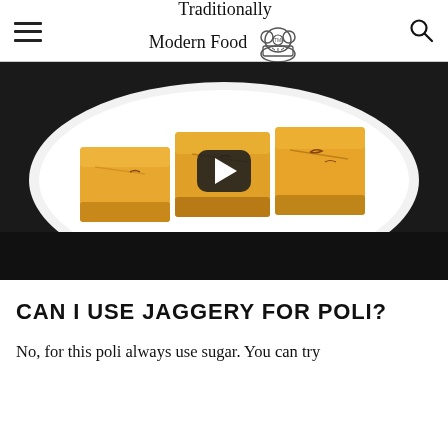Traditionally Modern Food
[Figure (photo): Food photo showing square golden/yellow sweet pieces (likely Mysore Pak or similar Indian sweet) arranged on a white oval plate against a dark background, with a video play button overlay]
CAN I USE JAGGERY FOR POLI?
No, for this poli always use sugar. You can try